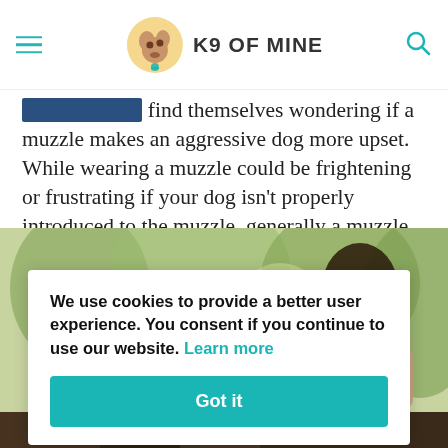K9 OF MINE
Some owners find themselves wondering if a muzzle makes an aggressive dog more upset. While wearing a muzzle could be frightening or frustrating if your dog isn't properly introduced to the muzzle, generally a muzzle shouldn't irritate or upset your dog.
[Figure (photo): A woman with dark hair outdoors in a park or wooded area, photo partially obscured by cookie consent banner]
We use cookies to provide a better user experience. You consent if you continue to use our website. Learn more
Got it
[Figure (photo): Bottom strip of another photo, partially visible]